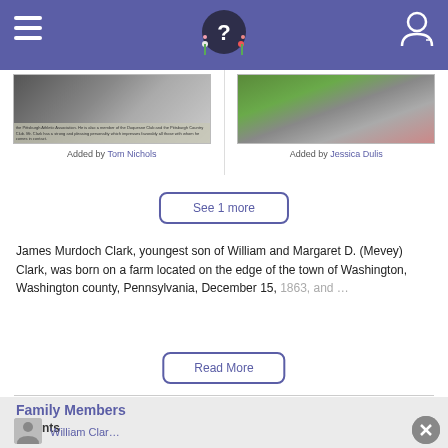Navigation header with hamburger menu, logo, and user icon
[Figure (photo): Two thumbnail images side by side: left is a portrait photo, right is an outdoor/garden photo. Added by Tom Nichols and Jessica Dulis respectively.]
Added by Tom Nichols
Added by Jessica Dulis
See 1 more
James Murdoch Clark, youngest son of William and Margaret D. (Mevey) Clark, was born on a farm located on the edge of the town of Washington, Washington county, Pennsylvania, December 15, 1863, and …
Read More
Family Members
Parents
William Clar…